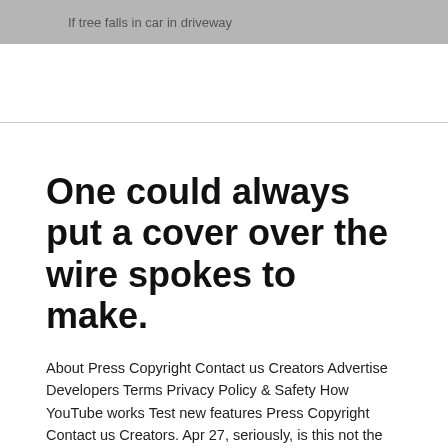If tree falls in car in driveway
One could always put a cover over the wire spokes to make.
About Press Copyright Contact us Creators Advertise Developers Terms Privacy Policy & Safety How YouTube works Test new features Press Copyright Contact us Creators. Apr 27, seriously, is this not the cutest thing ever!!!
Nov 03, Fat Cat Exercising On Treadmill: 'Exercise is good for you'. Aug 05, Hi cat lovers! The best and funniest cat videos ever! Cats are part of our life, we laugh at them so treeclear.bar cats are so adorable and cute. Just look at a. Ways to make sure your